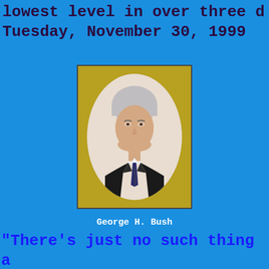lowest level in over three d
Tuesday, November 30, 1999
[Figure (illustration): Portrait painting of a man in a dark suit with striped tie, shown from the chest up, set against a golden/olive background. The figure appears in an oval frame format within a rectangular border.]
George H. Bush
"There's just no such thing a to him. He just says whateve about it after the election.